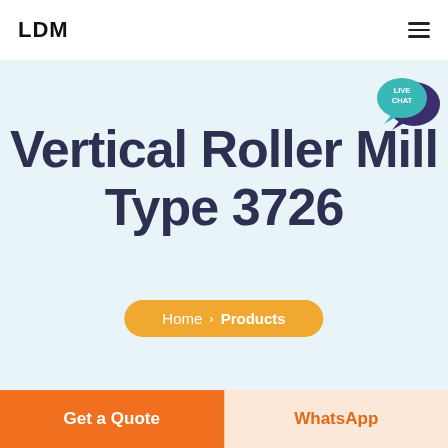LDM
Vertical Roller Mill Type 3726
Home > Products
[Figure (logo): Live Chat speech bubble icon with teal/purple colors and text LIVE CHAT]
Get a Quote
WhatsApp